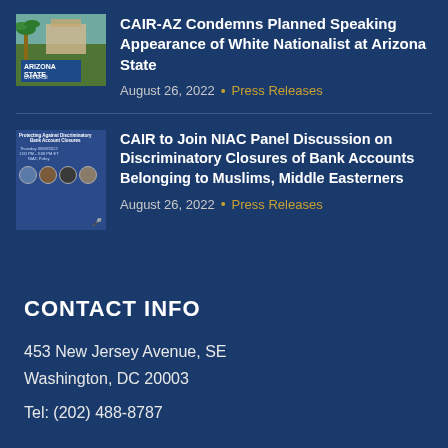[Figure (photo): Arizona State University sign with palm tree and building]
CAIR-AZ Condemns Planned Speaking Appearance of White Nationalist at Arizona State
August 26, 2022 • Press Releases
[Figure (photo): Promotional image for panel discussion on Protecting Against Discriminatory Bank Account Closures with multiple speakers]
CAIR to Join NIAC Panel Discussion on Discriminatory Closures of Bank Accounts Belonging to Muslims, Middle Easterners
August 26, 2022 • Press Releases
CONTACT INFO
453 New Jersey Avenue, SE
Washington, DC 20003
Tel: (202) 488-8787